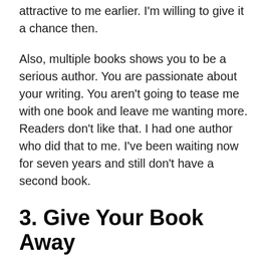attractive to me earlier. I'm willing to give it a chance then.
Also, multiple books shows you to be a serious author. You are passionate about your writing. You aren't going to tease me with one book and leave me wanting more. Readers don't like that. I had one author who did that to me. I've been waiting now for seven years and still don't have a second book.
3. Give Your Book Away
Most people aren't willing to shell out the money on authors they don't know. The best way to get their attention is to let them read your book for free. They will read it and tell others about it.